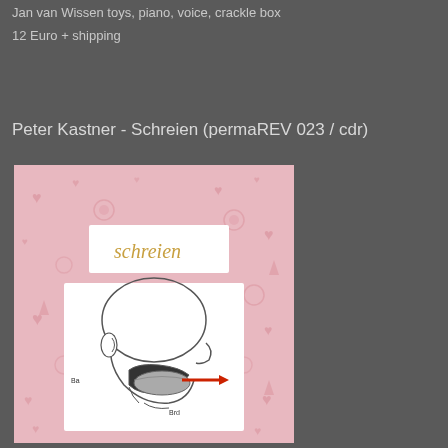Jan van Wissen  toys, piano, voice, crackle box
12 Euro + shipping
Peter Kastner - Schreien (permaREV 023 / cdr)
[Figure (photo): Album cover for 'Schreien' by Peter Kastner. Pink background with heart and flower patterns. Contains a white rectangle with cursive text 'schreien' in orange/gold, and below it a medical diagram of a human head in profile showing the vocal tract anatomy with a red arrow pointing outward from the mouth.]